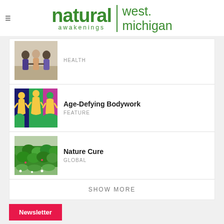[Figure (logo): Natural Awakenings West Michigan logo with green text and divider]
[Figure (photo): People with arms around each other viewed from behind - HEALTH article thumbnail]
HEALTH
[Figure (illustration): Colorful abstract figures dancing - Age-Defying Bodywork article thumbnail]
Age-Defying Bodywork
FEATURE
[Figure (photo): Green hedge with flowers - Nature Cure article thumbnail]
Nature Cure
GLOBAL
SHOW MORE
Newsletter